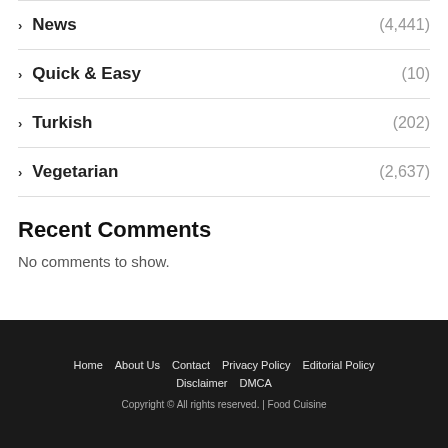News (4,441)
Quick & Easy (10)
Turkish (202)
Vegetarian (2,637)
Recent Comments
No comments to show.
Home   About Us   Contact   Privacy Policy   Editorial Policy   Disclaimer   DMCA   Copyright © All rights reserved. | Food Cuisine